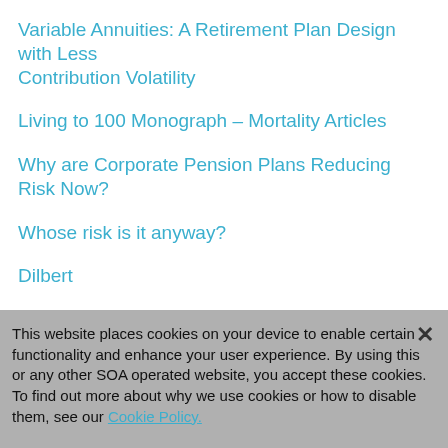Variable Annuities: A Retirement Plan Design with Less Contribution Volatility
Living to 100 Monograph – Mortality Articles
Why are Corporate Pension Plans Reducing Risk Now?
Whose risk is it anyway?
Dilbert
Print Version
Ch...
This website places cookies on your device to enable certain functionality and enhance your user experience. By using this or any other SOA operated website, you accept these cookies. To find out more about why we use cookies or how to disable them, see our Cookie Policy.